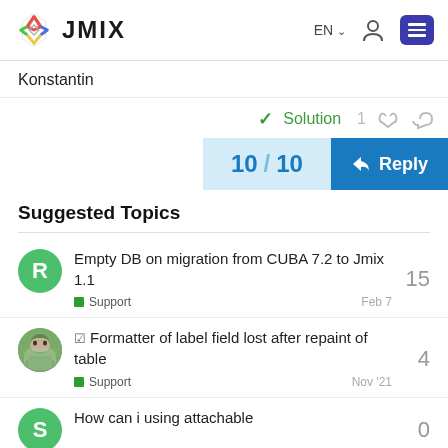JMIX EN
Konstantin
✓ Solution  1
10 / 10
Reply
Suggested Topics
Empty DB on migration from CUBA 7.2 to Jmix 1.1  Support  Feb 7  15
☑ Formatter of label field lost after repaint of table  Support  Nov '21  4
How can i using attachable  0